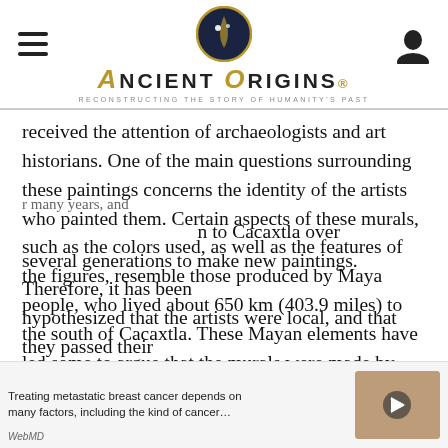Ancient Origins — Reconstructing the Story of Humanity's Past
received the attention of archaeologists and art historians. One of the main questions surrounding these paintings concerns the identity of the artists who painted them. Certain aspects of these murals, such as the colors used, as well as the features of the figures, resemble those produced by Maya people, who lived about 650 km (403.9 miles) to the south of Cacaxtla. These Mayan elements have led some to argue that the murals were made by Mayan artists, either itinerant ones, or those who had previously been living in Teotihuacan.
Others, however, are of the opinion that whilst Mayan influence is present in the murals, they were created by local artists. It has been pointed out, for instance, that the glyphs on the paintings are not
r many years, and n to Cacaxtla over several generations to make new paintings. Therefore, it has been hypothesized that the artists were local, and that they passed their